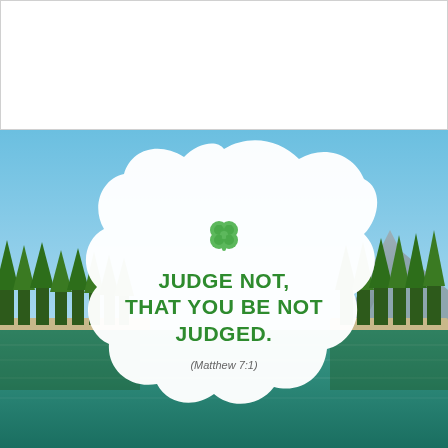[Figure (photo): A scenic mountain lake with blue sky, pine trees on the shores, a mountain in the background, and calm reflective water. A white blob-shaped overlay in the center contains a green four-leaf clover icon, bold green text reading 'JUDGE NOT, THAT YOU BE NOT JUDGED.' and a reference '(Matthew 7:1)'.]
JUDGE NOT, THAT YOU BE NOT JUDGED.
(Matthew 7:1)